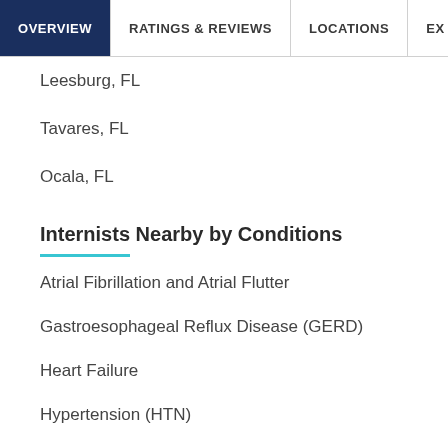OVERVIEW | RATINGS & REVIEWS | LOCATIONS | EX
Leesburg, FL
Tavares, FL
Ocala, FL
Internists Nearby by Conditions
Atrial Fibrillation and Atrial Flutter
Gastroesophageal Reflux Disease (GERD)
Heart Failure
Hypertension (HTN)
Hypothyroidism